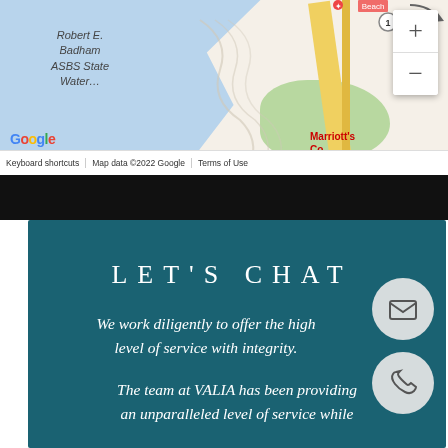[Figure (map): Google Maps screenshot showing coastal area with Robert E. Badham ASBS State Water label, green area, yellow road, Marriott's label, zoom controls (+/-), Google logo, and bottom bar with Keyboard shortcuts, Map data ©2022 Google, Terms of Use]
LET'S CHAT
We work diligently to offer the highest level of service with integrity.
The team at VALIA has been providing an unparalleled level of service while